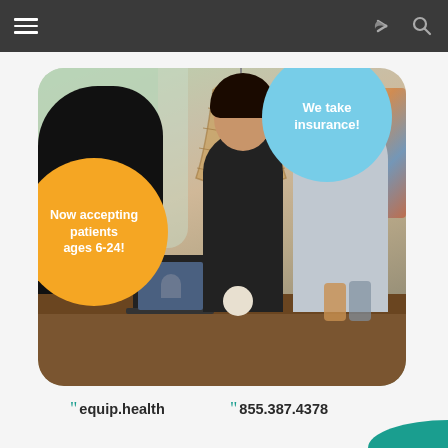Navigation bar with hamburger menu, share icon, and search icon
[Figure (photo): Photo of three people sitting at a dining table having a meal, with a laptop open showing a video call. A wicker pendant lamp hangs overhead. Natural light from large windows in the background. Overlaid with a light blue circle badge saying 'We take insurance!' and an orange circle badge saying 'Now accepting patients ages 6-24!']
equip.health
855.387.4378